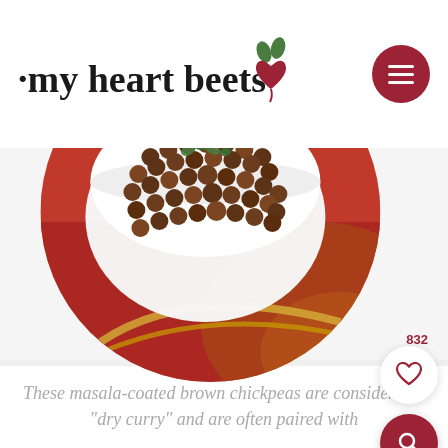my heart beets
[Figure (photo): Circular cropped photo of a white ramekin bowl filled with dark brown spiced chickpeas (kala chana) garnished with cilantro, placed on a red and gold embroidered cloth/fabric]
Instant Pot Sukhe Kale Chana (Spiced Brown Chickpeas)
These masala-coated brown chickpeas are considered a “dry curry” and are often paired with